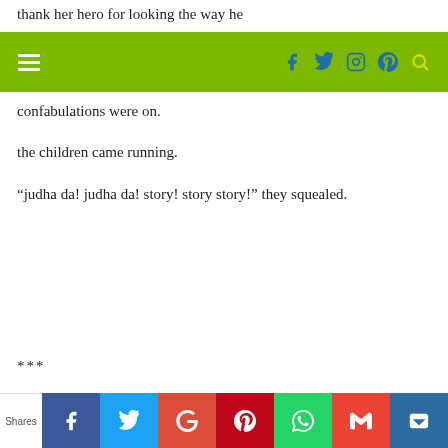thank her hero for looking the way he
[Figure (screenshot): Green navigation bar with hamburger menu icon on left and social media icons (Facebook, Twitter, Instagram, Pinterest, Search) on right]
confabulations were on.
the children came running.
“judha da! judha da! story! story story!” they squealed.
***
it was thursday. molina was getting ready the fruit and flowers for lakshmi puja when the bell rang.
[Figure (screenshot): Social sharing bar at bottom with Facebook, Twitter, Google+, Pinterest, WhatsApp, Gmail, and Crown icons]